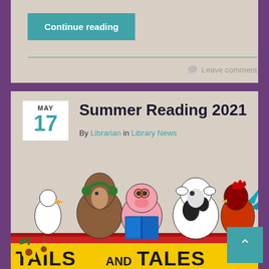Continue reading
Leave comment
Summer Reading 2021
By Librarian in Library News
[Figure (illustration): Cartoon farm animals (duck, horse, pig reading a blue book, cow, rooster) behind a sign reading TAILS AND TALES, which is the 2021 Summer Reading Program theme illustration.]